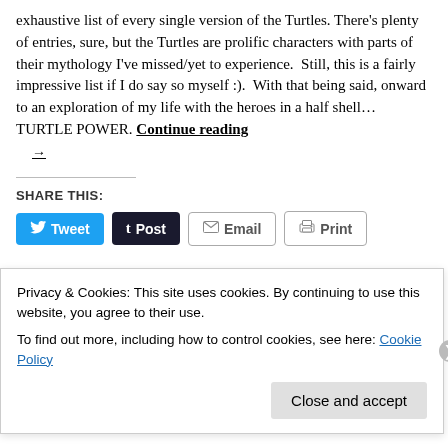exhaustive list of every single version of the Turtles. There's plenty of entries, sure, but the Turtles are prolific characters with parts of their mythology I've missed/yet to experience.  Still, this is a fairly impressive list if I do say so myself :).  With that being said, onward to an exploration of my life with the heroes in a half shell…TURTLE POWER. Continue reading →
SHARE THIS:
Tweet | Post | Email | Print
Privacy & Cookies: This site uses cookies. By continuing to use this website, you agree to their use.
To find out more, including how to control cookies, see here: Cookie Policy